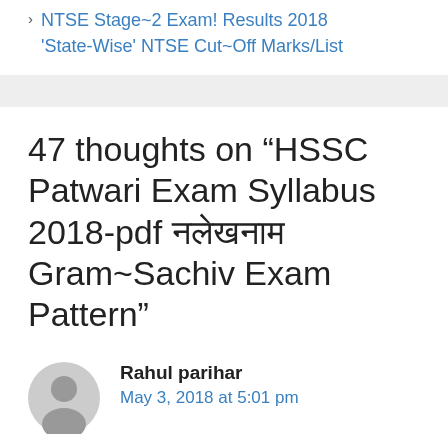NTSE Stage~2 Exam! Results 2018
'State-Wise' NTSE Cut~Off Marks/List
47 thoughts on “HSSC Patwari Exam Syllabus 2018-pdf नलेखनाम Gram~Sachiv Exam Pattern”
Rahul parihar
May 3, 2018 at 5:01 pm